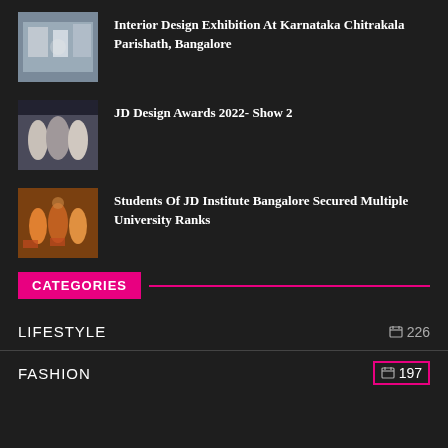Interior Design Exhibition At Karnataka Chitrakala Parishath, Bangalore
JD Design Awards 2022- Show 2
Students Of JD Institute Bangalore Secured Multiple University Ranks
CATEGORIES
LIFESTYLE  226
FASHION  197